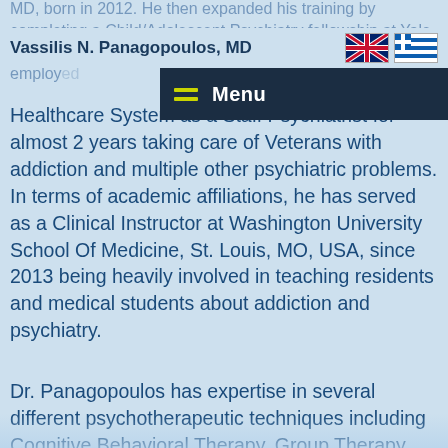Vassilis N. Panagopoulos, MD
Healthcare System as a Staff Psychiatrist for almost 2 years taking care of Veterans with addiction and multiple other psychiatric problems. In terms of academic affiliations, he has served as a Clinical Instructor at Washington University School Of Medicine, St. Louis, MO, USA, since 2013 being heavily involved in teaching residents and medical students about addiction and psychiatry.
Dr. Panagopoulos has expertise in several different psychotherapeutic techniques including Cognitive Behavioral Therapy, Group Therapy and Motivational Interviewing. He is a certified Medical Review Officer by the Medical Review Officer Certification Council for the interpretation of drug testing for employment.